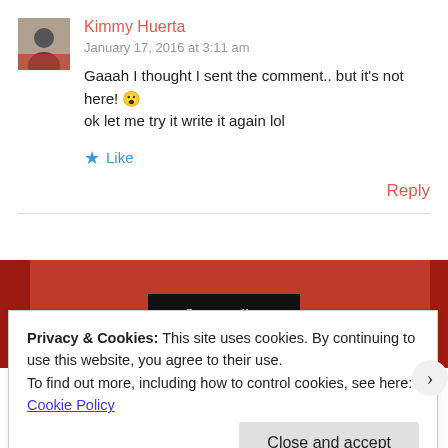Kimmy Huerta
January 17, 2016 at 3:11 am
Gaaah I thought I sent the comment.. but it's not here! 😮 ok let me try it write it again lol
★ Like
Reply
[Figure (screenshot): Red banner with a dark button labeled 'Start reading']
Privacy & Cookies: This site uses cookies. By continuing to use this website, you agree to their use.
To find out more, including how to control cookies, see here: Cookie Policy
Close and accept